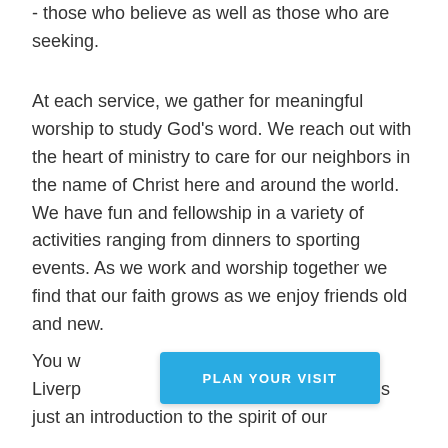- those who believe as well as those who are seeking.
At each service, we gather for meaningful worship to study God's word. We reach out with the heart of ministry to care for our neighbors in the name of Christ here and around the world. We have fun and fellowship in a variety of activities ranging from dinners to sporting events. As we work and worship together we find that our faith grows as we enjoy friends old and new.
You w[ill find many opport]unities at Liverp[ool Baptist Churc]h. Our website is just an introduction to the spirit of our
[Figure (other): Blue button with text PLAN YOUR VISIT overlaid on the page content]